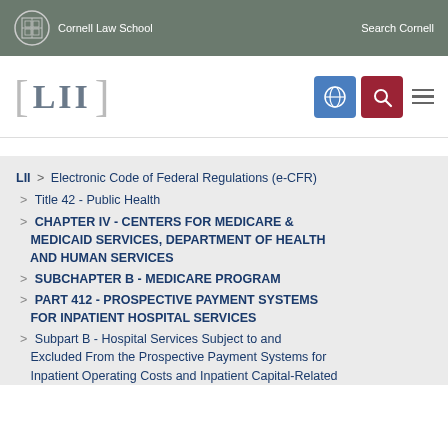Cornell Law School | Search Cornell
[Figure (logo): LII Legal Information Institute logo with bracket design]
LII > Electronic Code of Federal Regulations (e-CFR)
> Title 42 - Public Health
> CHAPTER IV - CENTERS FOR MEDICARE & MEDICAID SERVICES, DEPARTMENT OF HEALTH AND HUMAN SERVICES
> SUBCHAPTER B - MEDICARE PROGRAM
> PART 412 - PROSPECTIVE PAYMENT SYSTEMS FOR INPATIENT HOSPITAL SERVICES
> Subpart B - Hospital Services Subject to and Excluded From the Prospective Payment Systems for Inpatient Operating Costs and Inpatient Capital-Related